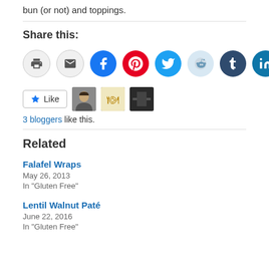bun (or not) and toppings.
Share this:
[Figure (infographic): Social sharing icons: print, email, Facebook, Pinterest, Twitter, Reddit, Tumblr, LinkedIn]
[Figure (infographic): Like button with star icon and 3 blogger avatar thumbnails]
3 bloggers like this.
Related
Falafel Wraps
May 26, 2013
In "Gluten Free"
Lentil Walnut Paté
June 22, 2016
In "Gluten Free"